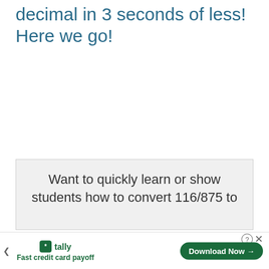decimal in 3 seconds of less! Here we go!
Want to quickly learn or show students how to convert 116/875 to
[Figure (other): Tally advertisement banner: 'Fast credit card payoff' with Download Now button, help and close icons]